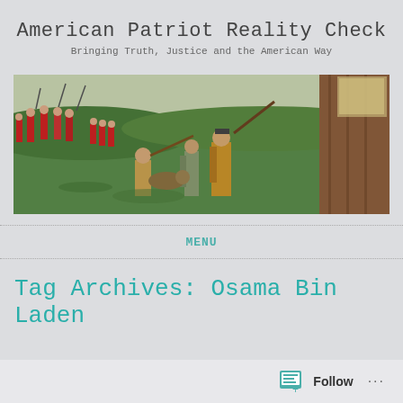American Patriot Reality Check
Bringing Truth, Justice and the American Way
[Figure (photo): A panoramic painting/mural depicting Revolutionary War battle scene with soldiers in red coats and colonial militia with muskets in a green landscape]
MENU
Tag Archives: Osama Bin Laden
Follow ...